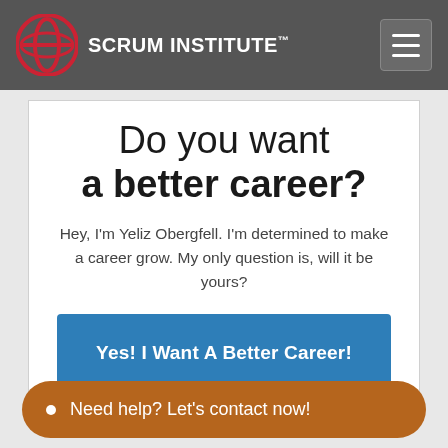SCRUM INSTITUTE™
Do you want a better career?
Hey, I'm Yeliz Obergfell. I'm determined to make a career grow. My only question is, will it be yours?
Yes! I Want A Better Career!
• Need help? Let's contact now!